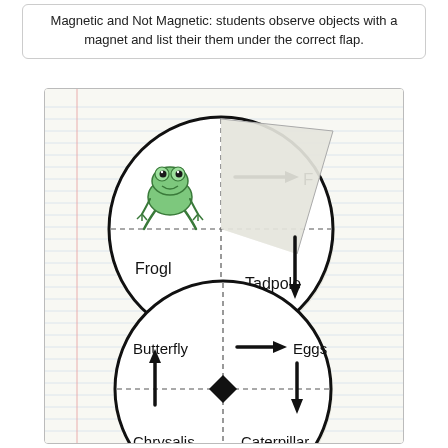Magnetic and Not Magnetic: students observe objects with a magnet and list their them under the correct flap.
[Figure (photo): A photo of two circular life cycle diagrams placed on a lined notebook page. The top circle shows a frog life cycle with a frog image in the upper-left quadrant, an arrow pointing right labeled 'F...' (partially hidden by a lifted paper flap), 'Frogl' in lower-left, and 'Tadpole' in lower-right with arrows indicating cycle direction. The bottom circle shows a butterfly life cycle with 'Butterfly' (upper-left) with arrow right to 'Eggs' (upper-right), 'Chrysalis' (lower-left) with arrows, and 'Caterpillar' (lower-right), all connected by directional arrows and a central diamond shape.]